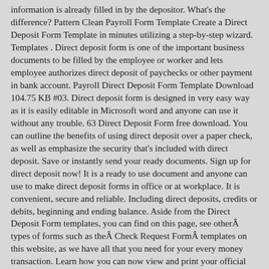information is already filled in by the depositor. What's the difference? Pattern Clean Payroll Form Template Create a Direct Deposit Form Template in minutes utilizing a step-by-step wizard. Templates . Direct deposit form is one of the important business documents to be filled by the employee or worker and lets employee authorizes direct deposit of paychecks or other payment in bank account. Payroll Direct Deposit Form Template Download 104.75 KB #03. Direct deposit form is designed in very easy way as it is easily editable in Microsoft word and anyone can use it without any trouble. 63 Direct Deposit Form free download. You can outline the benefits of using direct deposit over a paper check, as well as emphasize the security that's included with direct deposit. Save or instantly send your ready documents. Sign up for direct deposit now! It is a ready to use document and anyone can use to make direct deposit forms in office or at workplace. It is convenient, secure and reliable. Including direct deposits, credits or debits, beginning and ending balance. Aside from the Direct Deposit Form templates, you can find on this page, see otherÂ types of forms such as theÂ Check Request FormÂ templates on this website, as we have all that you need for your every money transaction. Learn how you can now view and print your official payroll direct deposit statement through At Your Service Online, UC's secure payroll and benefits website. A direct deposit form is a document that authorizes a third party to send money to a bank account using an ABA routing number and bank